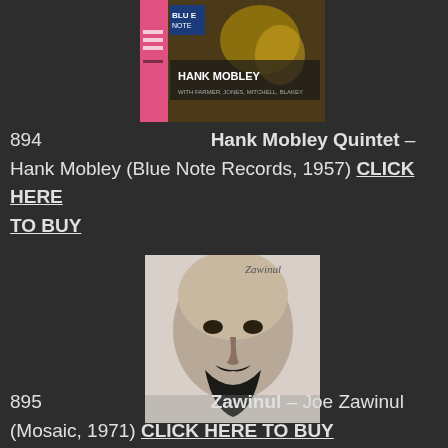[Figure (photo): Album cover of Hank Mobley Quintet on Blue Note Records]
894   Hank Mobley Quintet – Hank Mobley (Blue Note Records, 1957) CLICK HERE TO BUY
[Figure (photo): Black and white close-up portrait photo of Joe Zawinul on the Zawinul album cover]
895   Zawinul – Joe Zawinul (Mosaic, 1971) CLICK HERE TO BUY
[Figure (photo): Black and white photo of a musician performing, with a banner partially visible reading HA-CH, DRE R, AND THE, CHALE, E ORCHE]